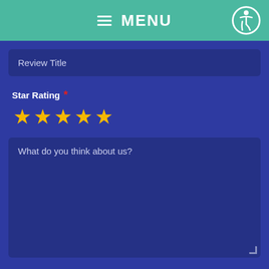≡ MENU
Review Title
Star Rating ★★★★★
What do you think about us?